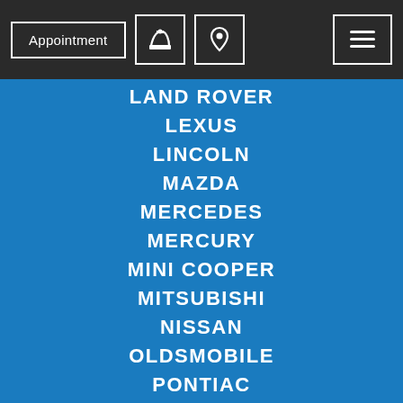[Figure (screenshot): Navigation header bar with Appointment button, phone icon, location pin icon, and hamburger menu icon on dark background]
LAND ROVER
LEXUS
LINCOLN
MAZDA
MERCEDES
MERCURY
MINI COOPER
MITSUBISHI
NISSAN
OLDSMOBILE
PONTIAC
PORSCHE
SAAB